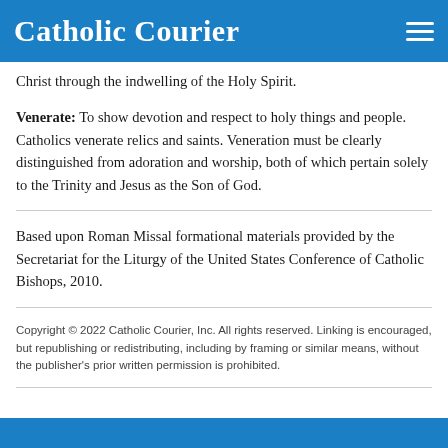Catholic Courier
Christ through the indwelling of the Holy Spirit.
Venerate: To show devotion and respect to holy things and people. Catholics venerate relics and saints. Veneration must be clearly distinguished from adoration and worship, both of which pertain solely to the Trinity and Jesus as the Son of God.
Based upon Roman Missal formational materials provided by the Secretariat for the Liturgy of the United States Conference of Catholic Bishops, 2010.
Copyright © 2022 Catholic Courier, Inc. All rights reserved. Linking is encouraged, but republishing or redistributing, including by framing or similar means, without the publisher's prior written permission is prohibited.